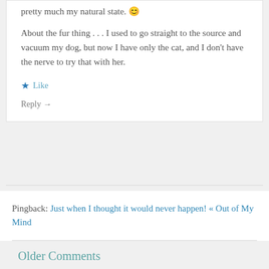pretty much my natural state. 😊
About the fur thing . . . I used to go straight to the source and vacuum my dog, but now I have only the cat, and I don’t have the nerve to try that with her.
★ Like
Reply →
Pingback: Just when I thought it would never happen! « Out of My Mind
Older Comments